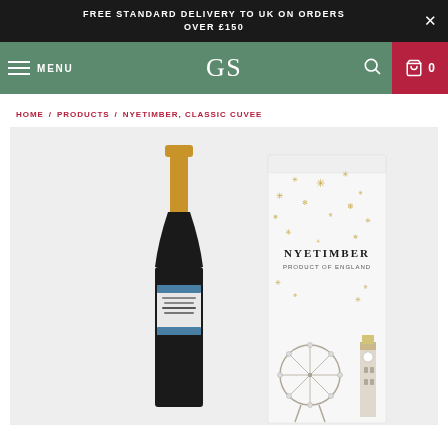FREE STANDARD DELIVERY TO UK ON ORDERS OVER £150
GS | MENU | 0
HOME / PRODUCTS / NYETIMBER, CLASSIC CUVEE
[Figure (photo): Product photo of Nyetimber Classic Cuvee sparkling wine bottle next to its gift box packaging. The bottle is dark with a gold foil top and white/blue label. The box is white with gold snowflake decorations and London skyline illustration including Big Ben and London Eye, with NYETIMBER branding.]